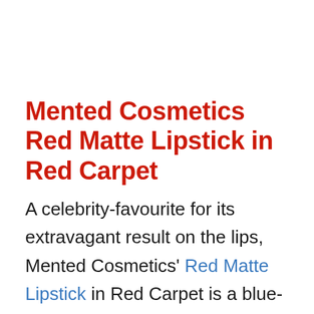Mented Cosmetics Red Matte Lipstick in Red Carpet
A celebrity-favourite for its extravagant result on the lips, Mented Cosmetics' Red Matte Lipstick in Red Carpet is a blue-based red that regulates your attention with its charismatic colour. Supplying a velvety matte surface, this premier lipstick